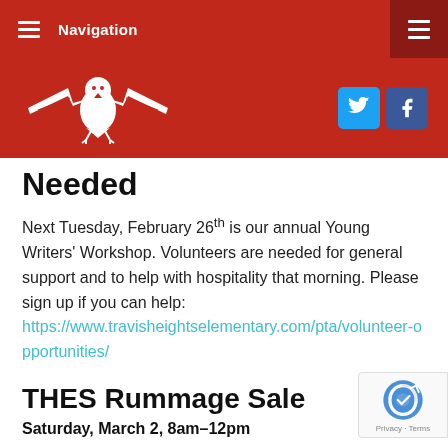Navigation
[Figure (logo): Travis Heights Elementary eagle logo in white on red background with Twitter and Facebook social media buttons]
Needed
Next Tuesday, February 26th is our annual Young Writers' Workshop. Volunteers are needed for general support and to help with hospitality that morning. Please sign up if you can help: https://www.travisheightselementary.com/pta/volunteer-opportunities/
THES Rummage Sale
Saturday, March 2, 8am–12pm